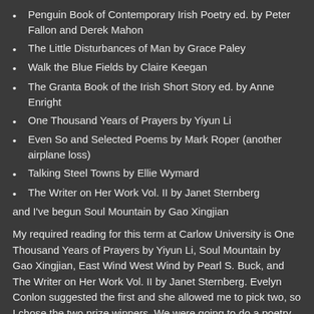Penguin Book of Contemporary Irish Poetry ed. by Peter Fallon and Derek Mahon
The Little Disturbances of Man by Grace Paley
Walk the Blue Fields by Claire Keegan
The Granta Book of the Irish Short Story ed. by Anne Enright
One Thousand Years of Prayers by Yiyun Li
Even So and Selected Poems by Mark Roper (another airplane loss)
Talking Steel Towns by Ellie Wymard
The Writer on Her Work Vol. II by Janet Sternberg
and I've begun Soul Mountain by Gao Xingjian
My required reading for this term at Carlow University is One Thousand Years of Prayers by Yiyun Li, Soul Mountain by Gao Xingjian, East Wind West Wind by Pearl S. Buck, and The Writer on Her Work Vol. II by Janet Sternberg. Evelyn Conlon suggested the first and she allowed me to pick two, so I chose the two prize winners. We were going to do a poetry selection and I chose "Push